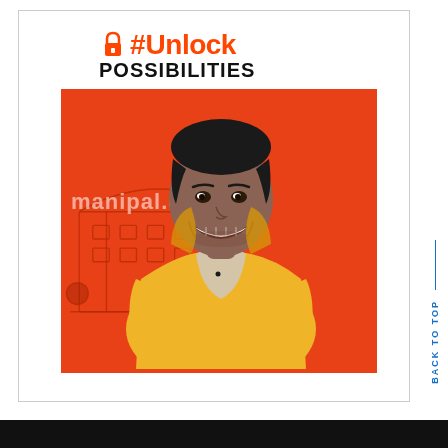#Unlock POSSIBILITIES
[Figure (photo): A smiling young man in a yellow hoodie jacket over a beige t-shirt, positioned against an orange background featuring a sketch of a university building and the text 'manipal.edu']
BACK TO TOP